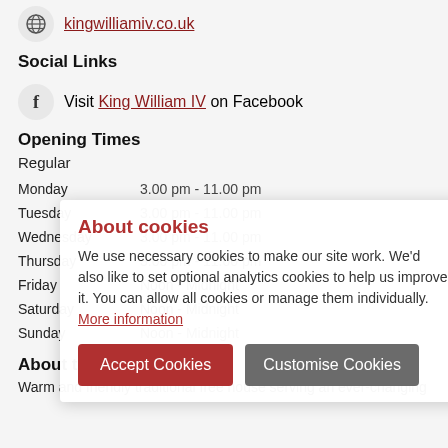kingwilliamiv.co.uk
Social Links
Visit King William IV on Facebook
Opening Times
Regular
| Day | Hours |
| --- | --- |
| Monday | 3.00 pm - 11.00 pm |
| Tuesday | 3.00 pm - 11.00 pm |
| Wednesday | 3.00 pm - 11.00 pm |
| Thursday | 3.00 pm - 11.00 pm |
| Friday | Noon - Midnight |
| Saturday | Noon - Midnight |
| Sunday | Noon - Midnight |
About the Pub
Warm and friendly traditional free house serving an ever-changing range of foods, fine real ales, as well as featuring...
About cookies
We use necessary cookies to make our site work. We'd also like to set optional analytics cookies to help us improve it. You can allow all cookies or manage them individually. More information